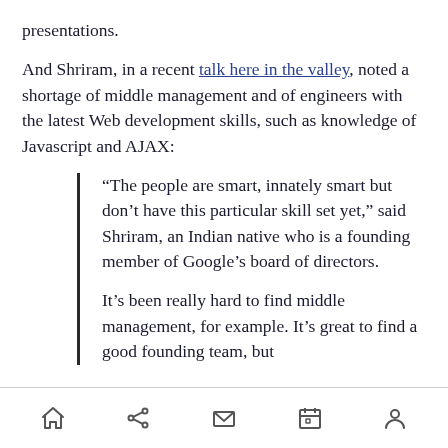presentations.
And Shriram, in a recent talk here in the valley, noted a shortage of middle management and of engineers with the latest Web development skills, such as knowledge of Javascript and AJAX:
“The people are smart, innately smart but don’t have this particular skill set yet,” said Shriram, an Indian native who is a founding member of Google’s board of directors.
It’s been really hard to find middle management, for example. It’s great to find a good founding team, but
navigation bar with home, share, mail, calendar, profile icons